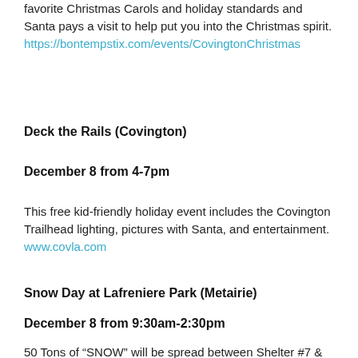favorite Christmas Carols and holiday standards and Santa pays a visit to help put you into the Christmas spirit. https://bontempstix.com/events/CovingtonChristmas
Deck the Rails (Covington)
December 8 from 4-7pm
This free kid-friendly holiday event includes the Covington Trailhead lighting, pictures with Santa, and entertainment. www.covla.com
Snow Day at Lafreniere Park (Metairie)
December 8 from 9:30am-2:30pm
50 Tons of “SNOW” will be spread between Shelter #7 & #8 near the Carousel at Lafreniere Park in Metairie for all to